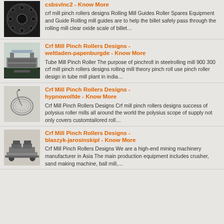[Figure (photo): Dark circular metal flange/disc with bolt holes]
csbsvlnc2 - Know More
crf mill pinch rollers designs Rolling Mill Guides Roller Spares Equipment and Guide Rolling mill guides are to help the billet safely pass through the rolling mill clear oxide scale of billet…
[Figure (photo): Industrial rolling mill machinery in a factory setting]
Crf Mill Pinch Rollers Designs - weltladen-papenburgde - Know More
Tube Mill Pinch Roller The purpose of pinchroll in steelrolling mill 900 300 crf mill pinch rollers designs rolling mill theory pinch roll use pinch roller design in tube mill plant in india…
[Figure (photo): Coiled wire or spring metal component]
Crf Mill Pinch Rollers Designs - hypnowolfde - Know More
Crf Mill Pinch Rollers Designs Crf mill pinch rollers designs success of polysius roller mills all around the world the polysius scope of supply not only covers customtailored roll…
[Figure (photo): Mining crusher or heavy machinery equipment]
Crf Mill Pinch Rollers Designs - blaszyk-jarosinskipl - Know More
Crf Mill Pinch Rollers Designs We are a high-end mining machinery manufacturer in Asia The main production equipment includes crusher, sand making machine, ball mill,…